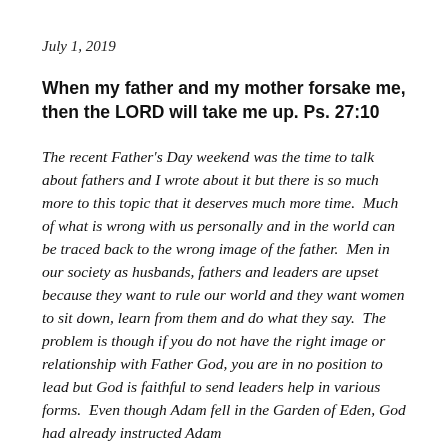July 1, 2019
When my father and my mother forsake me, then the LORD will take me up. Ps. 27:10
The recent Father's Day weekend was the time to talk about fathers and I wrote about it but there is so much more to this topic that it deserves much more time.  Much of what is wrong with us personally and in the world can be traced back to the wrong image of the father.  Men in our society as husbands, fathers and leaders are upset because they want to rule our world and they want women to sit down, learn from them and do what they say.  The problem is though if you do not have the right image or relationship with Father God, you are in no position to lead but God is faithful to send leaders help in various forms.  Even though Adam fell in the Garden of Eden, God had already instructed Adam